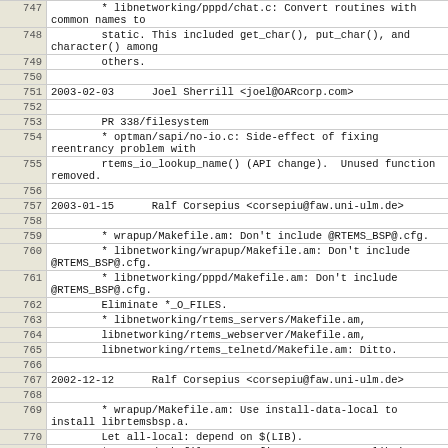| line | content |
| --- | --- |
| 747 |         * libnetworking/pppd/chat.c: Convert routines with common names to |
| 748 |         static. This included get_char(), put_char(), and character() among |
| 749 |         others. |
| 750 |  |
| 751 | 2003-02-03      Joel Sherrill <joel@OARcorp.com> |
| 752 |  |
| 753 |         PR 338/filesystem |
| 754 |         * optman/sapi/no-io.c: Side-effect of fixing reentrancy problem with |
| 755 |         rtems_io_lookup_name() (API change).  Unused function removed. |
| 756 |  |
| 757 | 2003-01-15      Ralf Corsepius <corsepiu@faw.uni-ulm.de> |
| 758 |  |
| 759 |         * wrapup/Makefile.am: Don't include @RTEMS_BSP@.cfg. |
| 760 |         * libnetworking/wrapup/Makefile.am: Don't include @RTEMS_BSP@.cfg. |
| 761 |         * libnetworking/pppd/Makefile.am: Don't include @RTEMS_BSP@.cfg. |
| 762 |         Eliminate *_O_FILES. |
| 763 |         * libnetworking/rtems_servers/Makefile.am, |
| 764 |         libnetworking/rtems_webserver/Makefile.am, |
| 765 |         libnetworking/rtems_telnetd/Makefile.am: Ditto. |
| 766 |  |
| 767 | 2002-12-12      Ralf Corsepius <corsepiu@faw.uni-ulm.de> |
| 768 |  |
| 769 |         * wrapup/Makefile.am: Use install-data-local to install librtemsbsp.a. |
| 770 |         Let all-local: depend on $(LIB). |
| 771 |         * wrapup/Makefile.am, configure.ac: Remove libmico. |